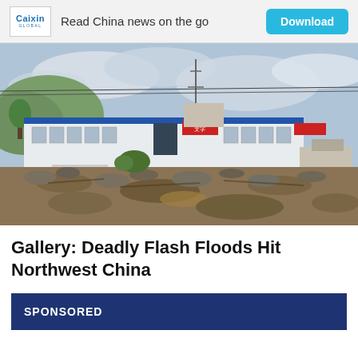Caixin Global — Read China news on the go — Download
[Figure (photo): Flood aftermath photo showing mud, rocks, and debris in front of a commercial building with blue roof trim in northwest China after deadly flash floods. A truck is visible on the right side.]
Gallery: Deadly Flash Floods Hit Northwest China
SPONSORED